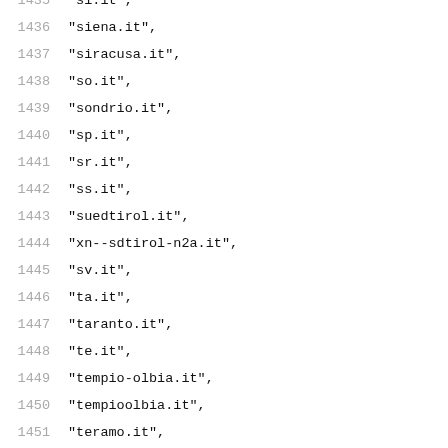1435  "si.it",
1436  "siena.it",
1437  "siracusa.it",
1438  "so.it",
1439  "sondrio.it",
1440  "sp.it",
1441  "sr.it",
1442  "ss.it",
1443  "suedtirol.it",
1444  "xn--sdtirol-n2a.it",
1445  "sv.it",
1446  "ta.it",
1447  "taranto.it",
1448  "te.it",
1449  "tempio-olbia.it",
1450  "tempioolbia.it",
1451  "teramo.it",
1452  "terni.it",
1453  "tn.it",
1454  "to.it",
1455  "torino.it",
1456  "tp.it",